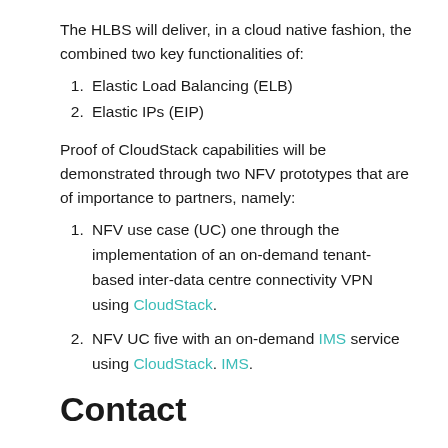The HLBS will deliver, in a cloud native fashion, the combined two key functionalities of:
1. Elastic Load Balancing (ELB)
2. Elastic IPs (EIP)
Proof of CloudStack capabilities will be demonstrated through two NFV prototypes that are of importance to partners, namely:
1. NFV use case (UC) one through the implementation of an on-demand tenant-based inter-data centre connectivity VPN using CloudStack.
2. NFV UC five with an on-demand IMS service using CloudStack. IMS.
Contact